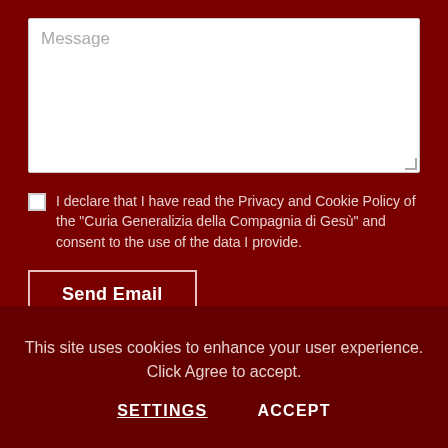[Figure (screenshot): Message text area input field with placeholder text 'Message' on dark red background]
I declare that I have read the Privacy and Cookie Policy of the "Curia Generalizia della Compagnia di Gesù" and consent to the use of the data I provide.
Send Email
This site uses cookies to enhance your user experience. Click Agree to accept.
SETTINGS
ACCEPT